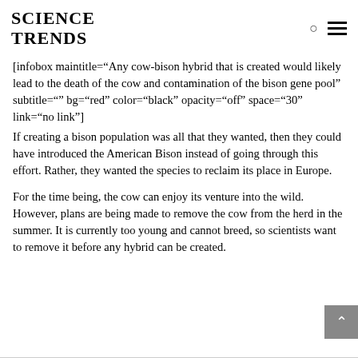SCIENCE TRENDS
[infobox maintitle="Any cow-bison hybrid that is created would likely lead to the death of the cow and contamination of the bison gene pool" subtitle="" bg="red" color="black" opacity="off" space="30" link="no link"]
If creating a bison population was all that they wanted, then they could have introduced the American Bison instead of going through this effort. Rather, they wanted the species to reclaim its place in Europe.
For the time being, the cow can enjoy its venture into the wild. However, plans are being made to remove the cow from the herd in the summer. It is currently too young and cannot breed, so scientists want to remove it before any hybrid can be created.